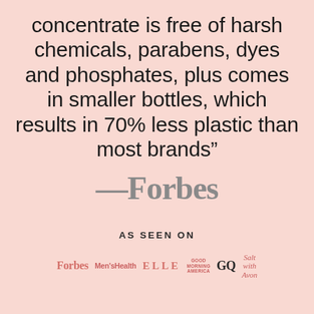concentrate is free of harsh chemicals, parabens, dyes and phosphates, plus comes in smaller bottles, which results in 70% less plastic than most brands”
—Forbes
AS SEEN ON
[Figure (logo): Row of media logos: Forbes, Men's Health, ELLE, Good Morning America, GQ, and a script logo]